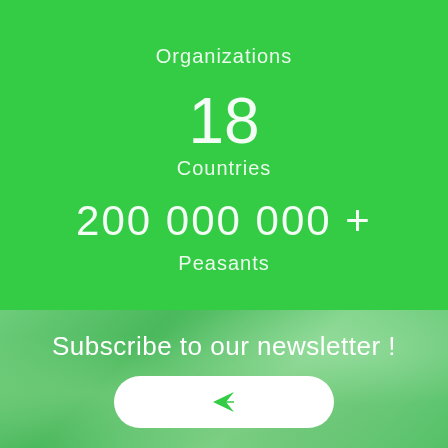Organizations
18
Countries
200 000 000 +
Peasants
Subscribe to our newsletter !
[Figure (illustration): A white rounded button with a paper airplane / send icon in green, on a green photo-overlay background]